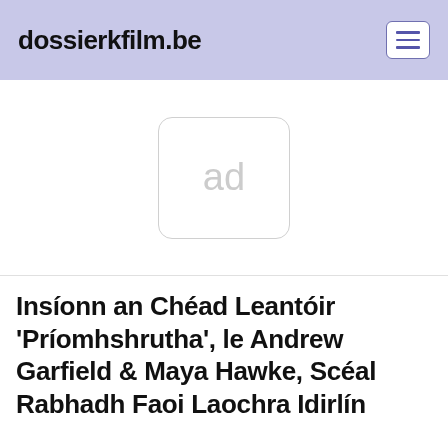dossierkfilm.be
[Figure (other): Advertisement placeholder box with text 'ad' in light gray, rounded rectangle border]
Insíonn an Chéad Leantóir 'Príomhshrutha', le Andrew Garfield & Maya Hawke, Scéal Rabhadh Faoi Laochra Idirlín